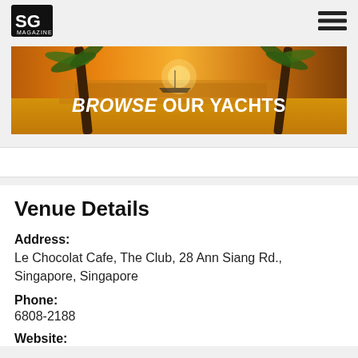SG Magazine
[Figure (photo): Banner advertisement showing a tropical beach scene at sunset with palm trees and a yacht on the water. Text overlay reads 'BROWSE OUR YACHTS' in bold white letters.]
Venue Details
Address:
Le Chocolat Cafe, The Club, 28 Ann Siang Rd., Singapore, Singapore
Phone:
6808-2188
Website: